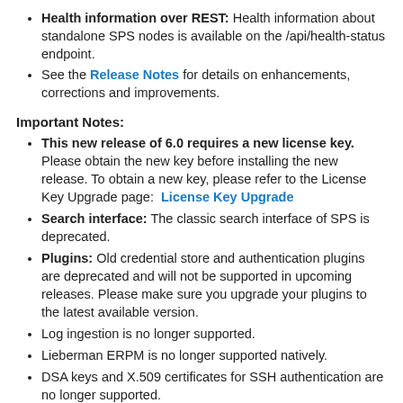Health information over REST: Health information about standalone SPS nodes is available on the /api/health-status endpoint.
See the Release Notes for details on enhancements, corrections and improvements.
Important Notes:
This new release of 6.0 requires a new license key. Please obtain the new key before installing the new release. To obtain a new key, please refer to the License Key Upgrade page: License Key Upgrade
Search interface: The classic search interface of SPS is deprecated.
Plugins: Old credential store and authentication plugins are deprecated and will not be supported in upcoming releases. Please make sure you upgrade your plugins to the latest available version.
Log ingestion is no longer supported.
Lieberman ERPM is no longer supported natively.
DSA keys and X.509 certificates for SSH authentication are no longer supported.
One Identity Safeguard for Privileged Sessions 5.9.x